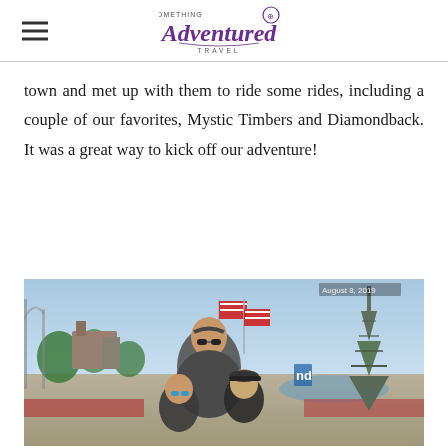Something Adventured Travel
town and met up with them to ride some rides, including a couple of our favorites, Mystic Timbers and Diamondback. It was a great way to kick off our adventure!
[Figure (photo): A woman and two children posing at an amusement park (Kings Island), with an Eiffel Tower replica, American flags, and roller coaster structures visible in the background. Date stamp reads August 8, 2019.]